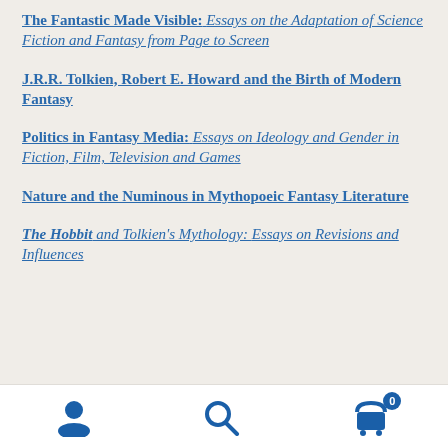The Fantastic Made Visible: Essays on the Adaptation of Science Fiction and Fantasy from Page to Screen
J.R.R. Tolkien, Robert E. Howard and the Birth of Modern Fantasy
Politics in Fantasy Media: Essays on Ideology and Gender in Fiction, Film, Television and Games
Nature and the Numinous in Mythopoeic Fantasy Literature
The Hobbit and Tolkien's Mythology: Essays on Revisions and Influences
Navigation bar with user, search, and cart (0) icons